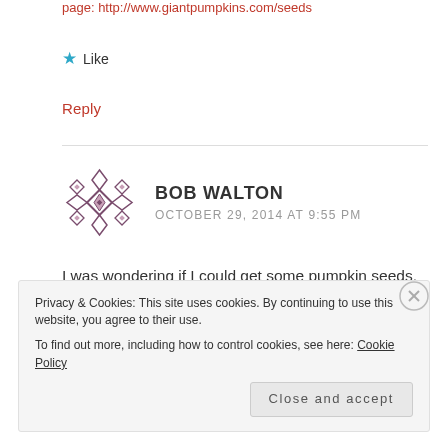page: http://www.giantpumpkins.com/seeds
★ Like
Reply
BOB WALTON
OCTOBER 29, 2014 AT 9:55 PM
I was wondering if I could get some pumpkin seeds. 1890 Primrose Cres, Kamloops, BC V1S 0A5 Thanks in advance
Privacy & Cookies: This site uses cookies. By continuing to use this website, you agree to their use.
To find out more, including how to control cookies, see here: Cookie Policy
Close and accept